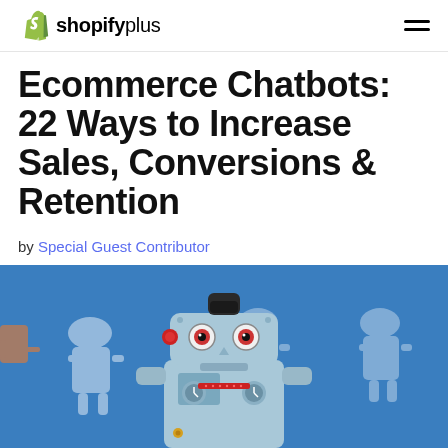shopifyplus
Ecommerce Chatbots: 22 Ways to Increase Sales, Conversions & Retention
by Special Guest Contributor
[Figure (photo): A vintage tin toy robot with round dial eyes, a red button on one side and red details, standing in the foreground against a blue background with blurred white robot figurines behind it.]